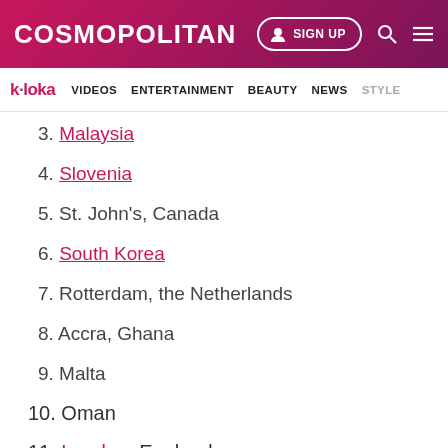COSMOPOLITAN | SIGN UP
k·loka | VIDEOS | ENTERTAINMENT | BEAUTY | NEWS | STYLE
3. Malaysia
4. Slovenia
5. St. John's, Canada
6. South Korea
7. Rotterdam, the Netherlands
8. Accra, Ghana
9. Malta
10. Oman
11. London, England
12. Taipei, Taiwan